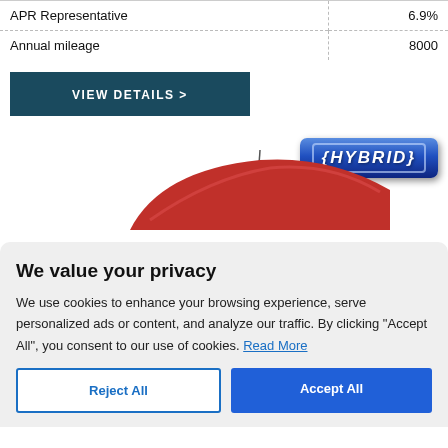| APR Representative | 6.9% |
| Annual mileage | 8000 |
VIEW DETAILS >
[Figure (photo): Partial view of a red hybrid car roof with a blue HYBRID badge in the upper right]
We value your privacy
We use cookies to enhance your browsing experience, serve personalized ads or content, and analyze our traffic. By clicking "Accept All", you consent to our use of cookies. Read More
Reject All
Accept All